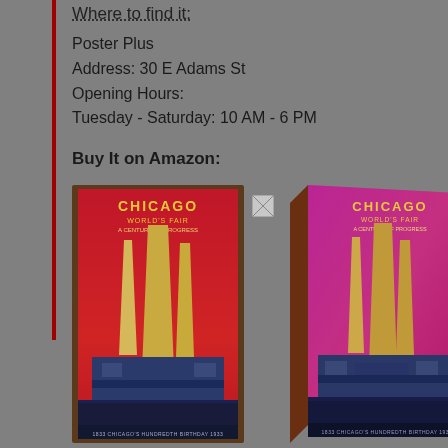Where to find it:
Poster Plus
Address: 30 E Adams St
Opening Hours:
Tuesday - Saturday: 10 AM - 6 PM
Buy It on Amazon:
[Figure (photo): Chicago World's Fair vintage poster framed - red/orange version (flat)]
[Figure (photo): Broken image placeholder]
[Figure (photo): Chicago World's Fair vintage poster framed - pink/purple version (angled/3D)]